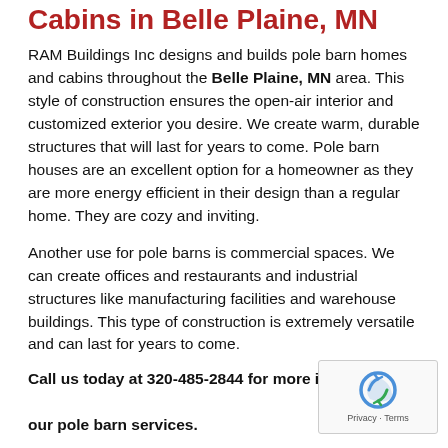Cabins in Belle Plaine, MN
RAM Buildings Inc designs and builds pole barn homes and cabins throughout the Belle Plaine, MN area. This style of construction ensures the open-air interior and customized exterior you desire. We create warm, durable structures that will last for years to come. Pole barn houses are an excellent option for a homeowner as they are more energy efficient in their design than a regular home. They are cozy and inviting.
Another use for pole barns is commercial spaces. We can create offices and restaurants and industrial structures like manufacturing facilities and warehouse buildings. This type of construction is extremely versatile and can last for years to come.
Call us today at 320-485-2844 for more information about our pole barn services.